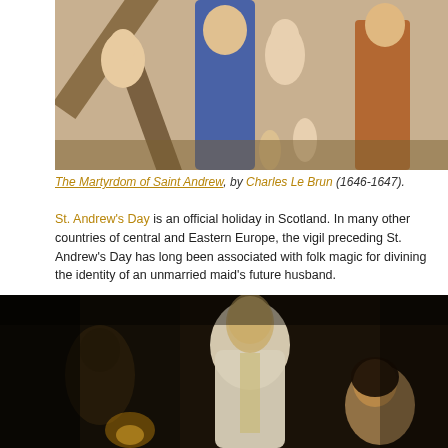[Figure (photo): Painting depicting the Martyrdom of Saint Andrew by Charles Le Brun (1646-1647), showing figures around a diagonal cross, cropped to show lower portion of figures.]
The Martyrdom of Saint Andrew, by Charles Le Brun (1646-1647).
St. Andrew's Day is an official holiday in Scotland. In many other countries of central and Eastern Europe, the vigil preceding St. Andrew's Day has long been associated with folk magic for divining the identity of an unmarried maid's future husband.
[Figure (photo): Dark painting showing a young woman in white dress holding a candle in a dark scene, with another figure visible.]